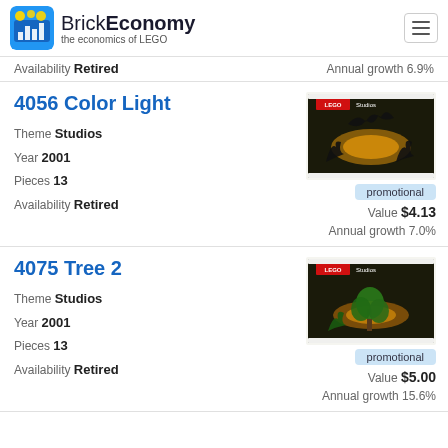BrickEconomy - the economics of LEGO
Availability  Retired   Annual growth 6.9%
4056 Color Light
Theme  Studios
Year  2001
Pieces  13
Availability  Retired
[Figure (photo): LEGO Studios polybag set 4056 Color Light product image]
promotional
Value  $4.13
Annual growth 7.0%
4075 Tree 2
Theme  Studios
Year  2001
Pieces  13
Availability  Retired
[Figure (photo): LEGO Studios polybag set 4075 Tree 2 product image]
promotional
Value  $5.00
Annual growth 15.6%